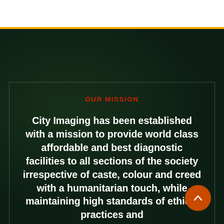OUR MISSION
City Imaging has been established with a mission to provide world class affordable and best diagnostic facilities to all sections of the society irrespective of caste, colour and creed with a humanitarian touch, while maintaining high standards of ethical practices and